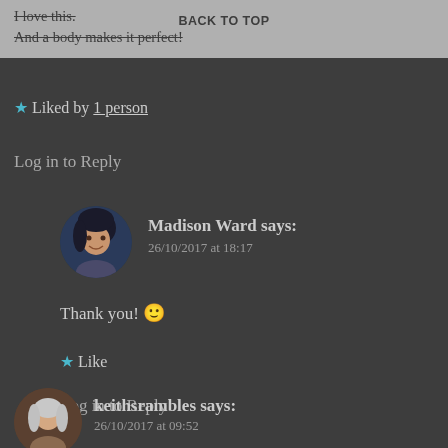I love this.
And a body makes it perfect!
BACK TO TOP
★ Liked by 1 person
Log in to Reply
Madison Ward says:
26/10/2017 at 18:17
Thank you! 🙂
★ Like
Log in to Reply
keithsrambles says:
26/10/2017 at 09:52